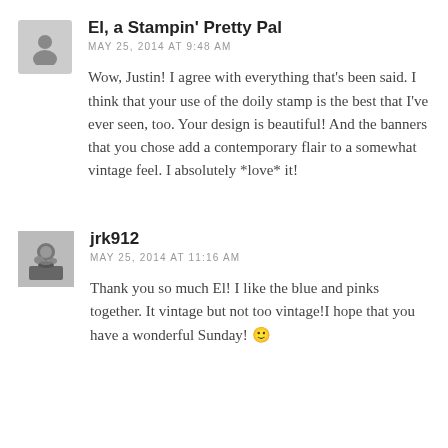El, a Stampin' Pretty Pal
MAY 25, 2014 AT 9:48 AM
Wow, Justin! I agree with everything that's been said. I think that your use of the doily stamp is the best that I've ever seen, too. Your design is beautiful! And the banners that you chose add a contemporary flair to a somewhat vintage feel. I absolutely *love* it!
jrk912
MAY 25, 2014 AT 11:16 AM
Thank you so much El! I like the blue and pinks together. It vintage but not too vintage!I hope that you have a wonderful Sunday! 🙂